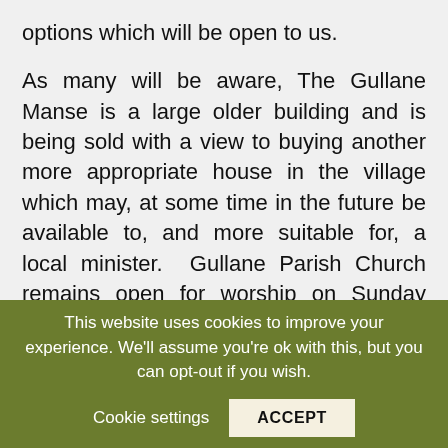options which will be open to us.

As many will be aware, The Gullane Manse is a large older building and is being sold with a view to buying another more appropriate house in the village which may, at some time in the future be available to, and more suitable for, a local minister. Gullane Parish Church remains open for worship on Sunday mornings, Aberlady for worship twice per month and evening worship online on two or three Sundays per month – all led by our
This website uses cookies to improve your experience. We'll assume you're ok with this, but you can opt-out if you wish.
Cookie settings   ACCEPT